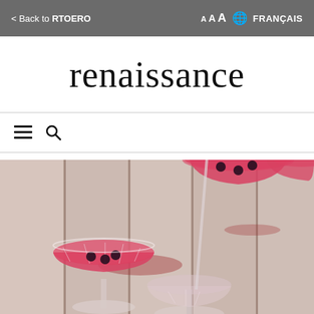< Back to RTOERO   A A A  🌐 FRANÇAIS
renaissance
≡ 🔍
[Figure (photo): Overhead view of multiple crystal coupe glasses filled with pink cocktails and dark berries, placed on a weathered white wooden surface]